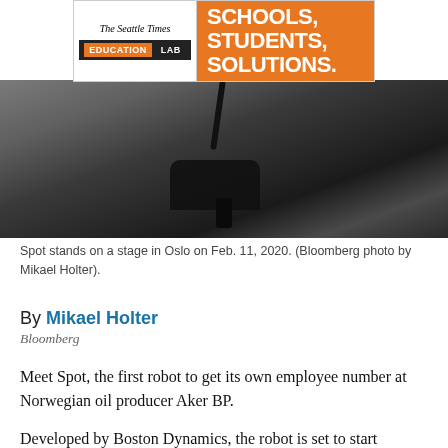[Figure (other): Advertisement banner for The Seattle Times Education Lab with orange background and text SCHOOLS, STUDENTS, SOLUTIONS.]
[Figure (photo): A dark robot dog (Spot by Boston Dynamics) standing on a stage in Oslo, with cables visible against a dark grey surface.]
Spot stands on a stage in Oslo on Feb. 11, 2020. (Bloomberg photo by Mikael Holter).
By Mikael Holter
Bloomberg
Meet Spot, the first robot to get its own employee number at Norwegian oil producer Aker BP.
Developed by Boston Dynamics, the robot is set to start patrolling Aker BP’s oil and gas production vessel at the Skarv field in the Norwegian Sea this